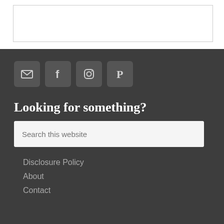[Figure (other): White box with border at top of page]
[Figure (infographic): Row of four social media icon buttons (Email, Facebook, Instagram, Pinterest) on dark gray background]
Looking for something?
Search this website
Disclosure Policy
About
Contact